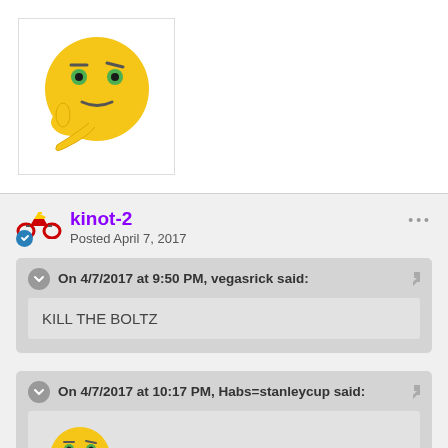[Figure (illustration): Large yellow thinking emoji avatar in a white bordered box]
kinot-2
Posted April 7, 2017
On 4/7/2017 at 9:50 PM, vegasrick said:
KILL THE BOLTZ
On 4/7/2017 at 10:17 PM, Habs=stanleycup said:
[Figure (illustration): Small yellow thinking emoji avatar]